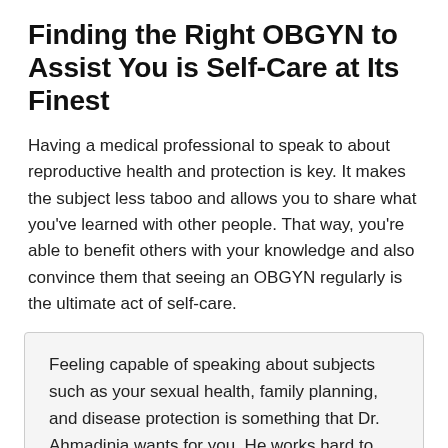Finding the Right OBGYN to Assist You is Self-Care at Its Finest
Having a medical professional to speak to about reproductive health and protection is key. It makes the subject less taboo and allows you to share what you've learned with other people. That way, you're able to benefit others with your knowledge and also convince them that seeing an OBGYN regularly is the ultimate act of self-care.
Feeling capable of speaking about subjects such as your sexual health, family planning, and disease protection is something that Dr. Ahmadinia wants for you. He works hard to build a rapport with his patients and gets to know them as individuals. That way, the advice he provides is relevant and easy to follow because it feels personal.